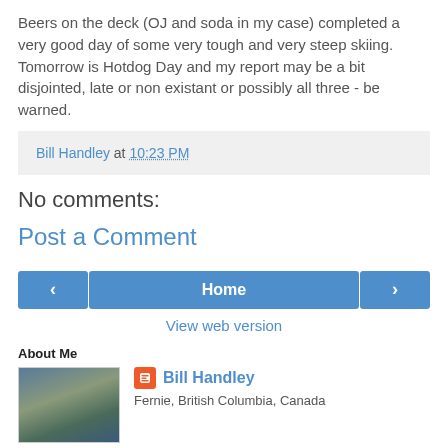Beers on the deck (OJ and soda in my case) completed a very good day of some very tough and very steep skiing. Tomorrow is Hotdog Day and my report may be a bit disjointed, late or non existant or possibly all three - be warned.
Bill Handley at 10:23 PM
No comments:
Post a Comment
[Figure (other): Navigation buttons: left arrow, Home, right arrow]
View web version
About Me
[Figure (photo): Profile photo of skiers on a slope]
Bill Handley
Fernie, British Columbia, Canada